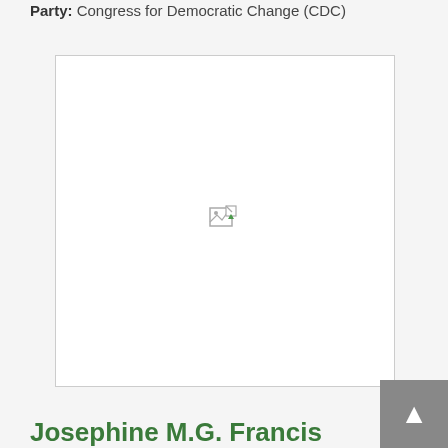Party: Congress for Democratic Change (CDC)
[Figure (photo): Broken/missing candidate photo placeholder with broken image icon in center]
Josephine M.G. Francis